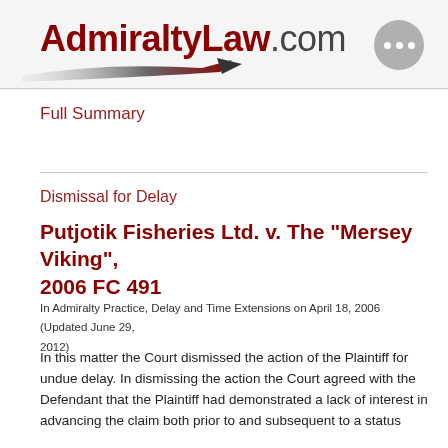AdmiraltyLaw.com
Full Summary
Dismissal for Delay
Putjotik Fisheries Ltd. v. The "Mersey Viking", 2006 FC 491
In Admiralty Practice, Delay and Time Extensions on April 18, 2006 (Updated June 29, 2012)
In this matter the Court dismissed the action of the Plaintiff for undue delay. In dismissing the action the Court agreed with the Defendant that the Plaintiff had demonstrated a lack of interest in advancing the claim both prior to and subsequent to a status